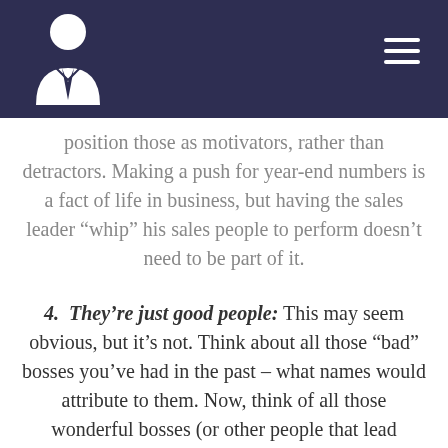[Figure (logo): White person/businessman icon on dark navy background header bar with hamburger menu icon in top right]
position those as motivators, rather than detractors. Making a push for year-end numbers is a fact of life in business, but having the sales leader “whip” his sales people to perform doesn’t need to be part of it.
4. They’re just good people: This may seem obvious, but it’s not. Think about all those “bad” bosses you’ve had in the past – what names would attribute to them. Now, think of all those wonderful bosses (or other people that lead something which you were involved) and what names would attributed to them. We are all human, but a really great leaders is a “people